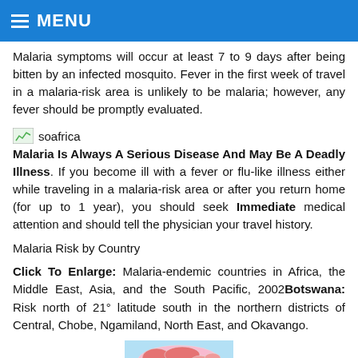MENU
Malaria symptoms will occur at least 7 to 9 days after being bitten by an infected mosquito. Fever in the first week of travel in a malaria-risk area is unlikely to be malaria; however, any fever should be promptly evaluated.
[Figure (illustration): Small image icon labeled 'soafrica']
Malaria Is Always A Serious Disease And May Be A Deadly Illness. If you become ill with a fever or flu-like illness either while traveling in a malaria-risk area or after you return home (for up to 1 year), you should seek Immediate medical attention and should tell the physician your travel history.
Malaria Risk by Country
Click To Enlarge: Malaria-endemic countries in Africa, the Middle East, Asia, and the South Pacific, 2002 Botswana: Risk north of 21° latitude south in the northern districts of Central, Chobe, Ngamiland, North East, and Okavango.
[Figure (map): Map showing malaria-endemic countries in Asia and surrounding regions, colored in red/pink on a light blue background]